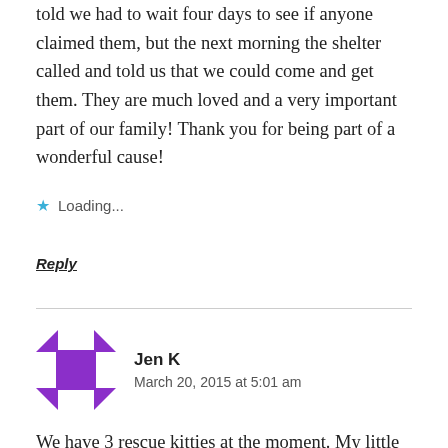told we had to wait four days to see if anyone claimed them, but the next morning the shelter called and told us that we could come and get them. They are much loved and a very important part of our family! Thank you for being part of a wonderful cause!
Loading...
Reply
Jen K
March 20, 2015 at 5:01 am
We have 3 rescue kitties at the moment. My little black cat loves to “help” me with quilting.